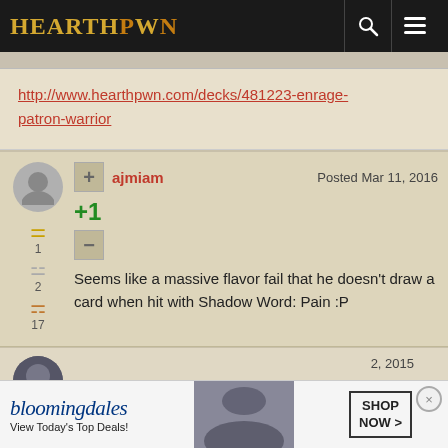HEARTHPWN
http://www.hearthpwn.com/decks/481223-enrage-patron-warrior
ajmiam  Posted Mar 11, 2016
+1
Seems like a massive flavor fail that he doesn't draw a card when hit with Shadow Word: Pain :P
[Figure (screenshot): Partial second comment with avatar, date 2015, and bronze trophy visible at bottom]
[Figure (screenshot): Bloomingdales advertisement banner: 'bloomingdales View Today's Top Deals! SHOP NOW >']